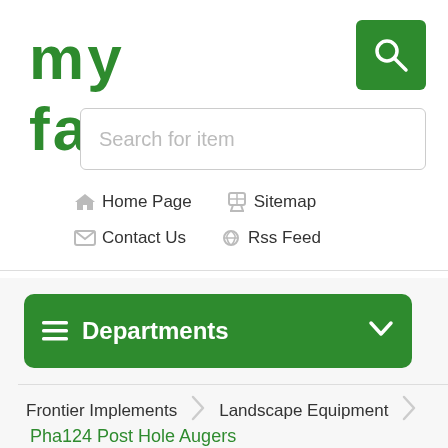MY FARM
[Figure (other): Search icon (magnifying glass) on green square button]
Search for item
Home Page
Sitemap
Contact Us
Rss Feed
Departments
Frontier Implements > Landscape Equipment
Pha124 Post Hole Augers